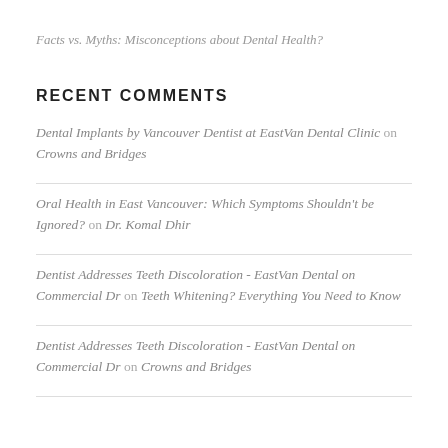Facts vs. Myths: Misconceptions about Dental Health?
RECENT COMMENTS
Dental Implants by Vancouver Dentist at EastVan Dental Clinic on Crowns and Bridges
Oral Health in East Vancouver: Which Symptoms Shouldn't be Ignored? on Dr. Komal Dhir
Dentist Addresses Teeth Discoloration - EastVan Dental on Commercial Dr on Teeth Whitening? Everything You Need to Know
Dentist Addresses Teeth Discoloration - EastVan Dental on Commercial Dr on Crowns and Bridges